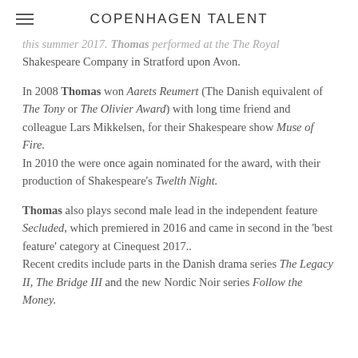COPENHAGEN TALENT
this summer 2017. Thomas performed at the The Royal Shakespeare Company in Stratford upon Avon.
In 2008 Thomas won Aarets Reumert (The Danish equivalent of The Tony or The Olivier Award) with long time friend and colleague Lars Mikkelsen, for their Shakespeare show Muse of Fire.
In 2010 the were once again nominated for the award, with their production of Shakespeare's Twelth Night.
Thomas also plays second male lead in the independent feature Secluded, which premiered in 2016 and came in second in the 'best feature' category at Cinequest 2017..
Recent credits include parts in the Danish drama series The Legacy II, The Bridge III and the new Nordic Noir series Follow the Money.